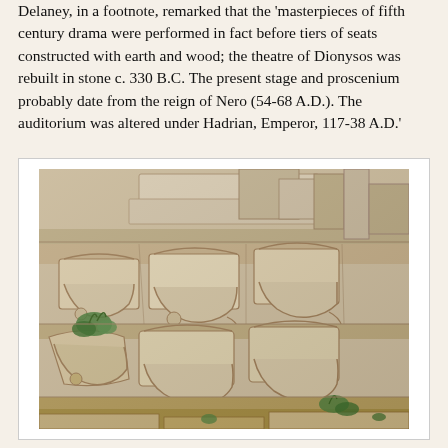Delaney, in a footnote, remarked that the 'masterpieces of fifth century drama were performed in fact before tiers of seats constructed with earth and wood; the theatre of Dionysos was rebuilt in stone c. 330 B.C. The present stage and proscenium probably date from the reign of Nero (54-68 A.D.). The auditorium was altered under Hadrian, Emperor, 117-38 A.D.'
[Figure (photo): Photograph of ancient stone theatre seats at the Theatre of Dionysos, showing ornately carved marble chairs with curved decorative fronts and armrests, arranged in tiered rows with vegetation growing between the stones.]